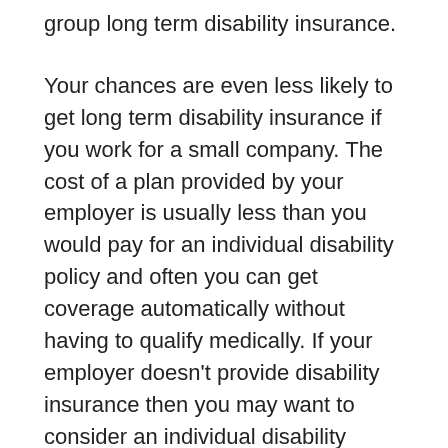group long term disability insurance.
Your chances are even less likely to get long term disability insurance if you work for a small company. The cost of a plan provided by your employer is usually less than you would pay for an individual disability policy and often you can get coverage automatically without having to qualify medically. If your employer doesn't provide disability insurance then you may want to consider an individual disability policy.
Or, you may need a personal disability insurance policy to supplement an employer group plan. Be sure to check the group provisions carefully: How long does the group disability insurance coverage